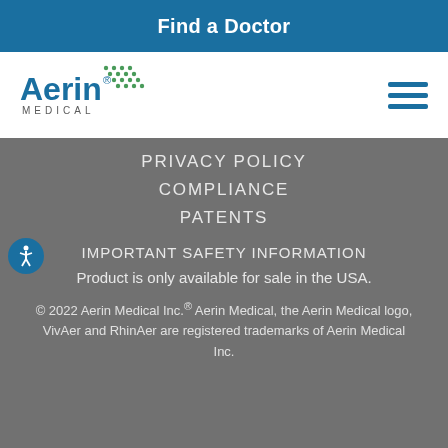Find a Doctor
[Figure (logo): Aerin Medical logo with dot pattern and wordmark MEDICAL below]
PRIVACY POLICY
COMPLIANCE
PATENTS
IMPORTANT SAFETY INFORMATION
Product is only available for sale in the USA.
© 2022 Aerin Medical Inc.® Aerin Medical, the Aerin Medical logo, VivAer and RhinAer are registered trademarks of Aerin Medical Inc.